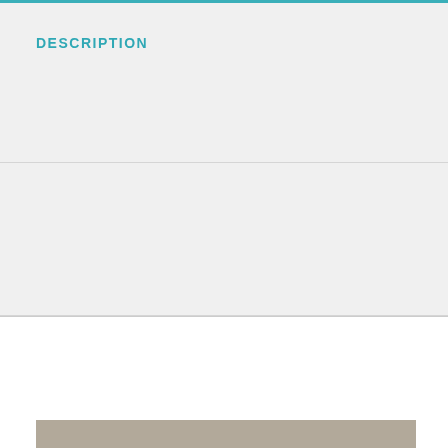DESCRIPTION
INSTALLATION
Product Description Cloud Mounting Brackets©
[Figure (photo): Partial view of a product photo at the bottom of the page, showing a brown/tan surface — likely the Cloud Mounting Brackets product]